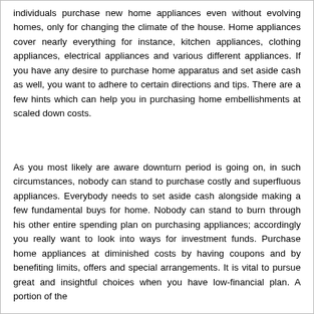individuals purchase new home appliances even without evolving homes, only for changing the climate of the house. Home appliances cover nearly everything for instance, kitchen appliances, clothing appliances, electrical appliances and various different appliances. If you have any desire to purchase home apparatus and set aside cash as well, you want to adhere to certain directions and tips. There are a few hints which can help you in purchasing home embellishments at scaled down costs.
As you most likely are aware downturn period is going on, in such circumstances, nobody can stand to purchase costly and superfluous appliances. Everybody needs to set aside cash alongside making a few fundamental buys for home. Nobody can stand to burn through his other entire spending plan on purchasing appliances; accordingly you really want to look into ways for investment funds. Purchase home appliances at diminished costs by having coupons and by benefiting limits, offers and special arrangements. It is vital to pursue great and insightful choices when you have low-financial plan.  A portion of the